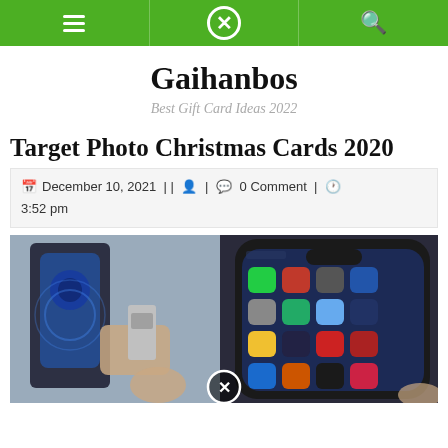Gaihanbos navigation bar
Gaihanbos
Best Gift Card Ideas 2022
Target Photo Christmas Cards 2020
December 10, 2021 | | 0 Comment | 3:52 pm
[Figure (photo): Hands holding an iPhone 12 Pro Max with home screen visible, next to its retail box; a SIM card tray is being inserted. A circular X overlay button appears at the bottom center of the image.]